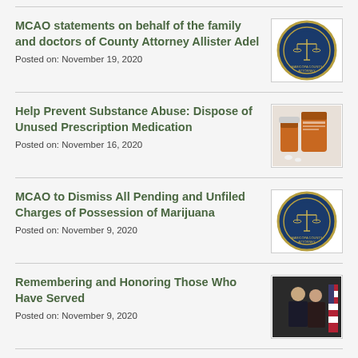MCAO statements on behalf of the family and doctors of County Attorney Allister Adel
Posted on: November 19, 2020
[Figure (logo): Maricopa County Attorney seal/logo circle badge]
Help Prevent Substance Abuse: Dispose of Unused Prescription Medication
Posted on: November 16, 2020
[Figure (photo): Photo of prescription pill bottles]
MCAO to Dismiss All Pending and Unfiled Charges of Possession of Marijuana
Posted on: November 9, 2020
[Figure (logo): Maricopa County Attorney seal/logo circle badge]
Remembering and Honoring Those Who Have Served
Posted on: November 9, 2020
[Figure (photo): Photo of two people in formal attire with US flag]
Get Involved and Help Keep Your Neighborhood Safe
Posted on: November 2, 2020
[Figure (photo): Aerial photo of neighborhood houses]